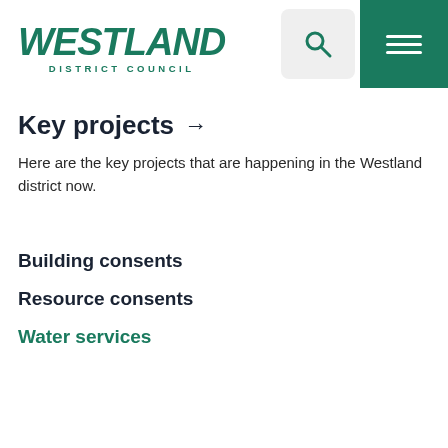WESTLAND DISTRICT COUNCIL
Key projects →
Here are the key projects that are happening in the Westland district now.
Building consents
Resource consents
Water services